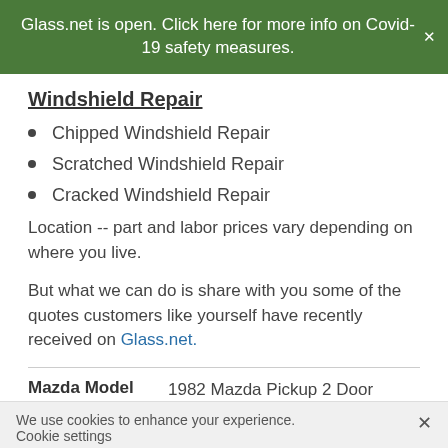Glass.net is open. Click here for more info on Covid-19 safety measures.
Windshield Repair
Chipped Windshield Repair
Scratched Windshield Repair
Cracked Windshield Repair
Location -- part and labor prices vary depending on where you live.
But what we can do is share with you some of the quotes customers like yourself have recently received on Glass.net.
| Mazda Model |  |
| --- | --- |
| Mazda Model | 1982 Mazda Pickup 2 Door Standard Cab |
We use cookies to enhance your experience. Cookie settings